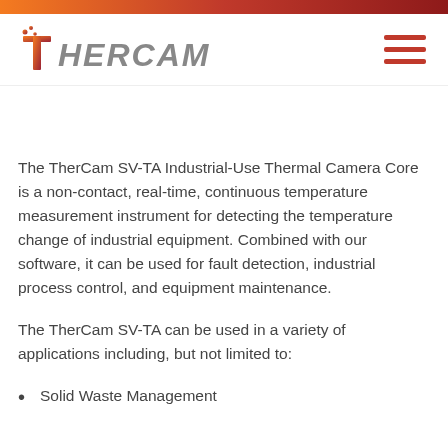[Figure (logo): TherCam logo with stylized T and gradient orange-to-red color scheme, followed by 'HERCAM' in grey futuristic font]
The TherCam SV-TA Industrial-Use Thermal Camera Core is a non-contact, real-time, continuous temperature measurement instrument for detecting the temperature change of industrial equipment. Combined with our software, it can be used for fault detection, industrial process control, and equipment maintenance.
The TherCam SV-TA can be used in a variety of applications including, but not limited to:
Solid Waste Management